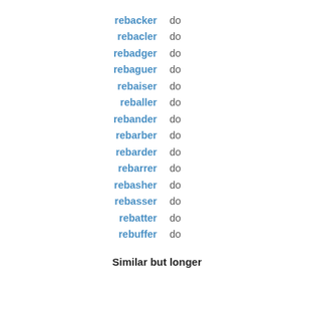rebacker   do
rebacler   do
rebadger   do
rebaguer   do
rebaiser   do
reballer   do
rebander   do
rebarber   do
rebarder   do
rebarrer   do
rebasher   do
rebasser   do
rebatter   do
rebuffer   do
Similar but longer